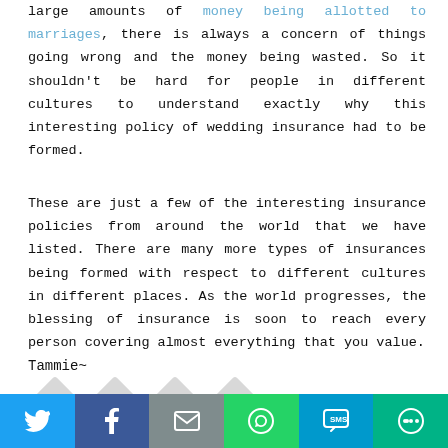large amounts of money being allotted to marriages, there is always a concern of things going wrong and the money being wasted. So it shouldn't be hard for people in different cultures to understand exactly why this interesting policy of wedding insurance had to be formed.
These are just a few of the interesting insurance policies from around the world that we have listed. There are many more types of insurances being formed with respect to different cultures in different places. As the world progresses, the blessing of insurance is soon to reach every person covering almost everything that you value.
Tammie~
[Figure (other): Four diamond/rotated-square social share button icons in light gray, with small icons inside each]
[Figure (other): Social sharing bar at bottom with Twitter, Facebook, Email, WhatsApp, SMS, and More buttons in colored blocks]